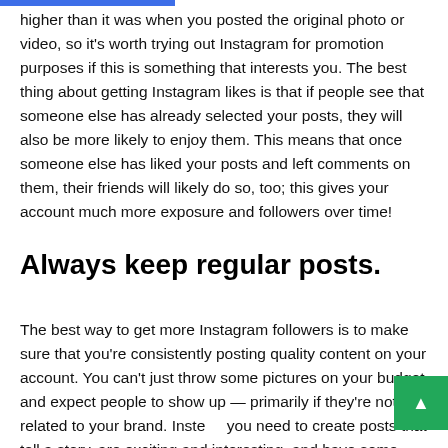higher than it was when you posted the original photo or video, so it's worth trying out Instagram for promotion purposes if this is something that interests you. The best thing about getting Instagram likes is that if people see that someone else has already selected your posts, they will also be more likely to enjoy them. This means that once someone else has liked your posts and left comments on them, their friends will likely do so, too; this gives your account much more exposure and followers over time!
Always keep regular posts.
The best way to get more Instagram followers is to make sure that you're consistently posting quality content on your account. You can't just throw some pictures on your budget and expect people to show up — primarily if they're not related to your brand. Inste... you need to create posts that tell a story, are exciting and interesting, and have some message behind them. You don't need to make each post the following "Top 10 Reasons Why People Love